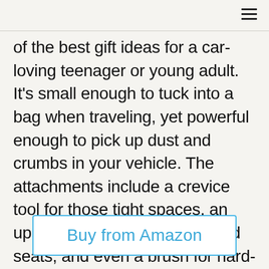of the best gift ideas for a car-loving teenager or young adult. It's small enough to tuck into a bag when traveling, yet powerful enough to pick up dust and crumbs in your vehicle. The attachments include a crevice tool for those tight spaces, an upholstery tool for furniture and seats, and even a brush for hard-to-reach places like the dashboard.
Buy from Amazon